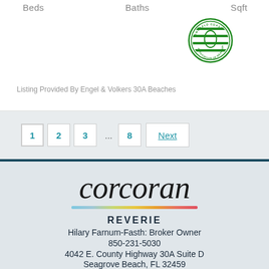Beds    Baths    Sqft
[Figure (logo): Emerald Coast Association of Realtors circular green badge/seal]
Listing Provided By Engel & Volkers 30A Beaches
1  2  3  ...  8  Next
[Figure (logo): Corcoran Reverie real estate footer with logo, rainbow line, agent info and social icons]
REVERIE
Hilary Farnum-Fasth: Broker Owner
850-231-5030
4042 E. County Highway 30A Suite D
Seagrove Beach, FL 32459